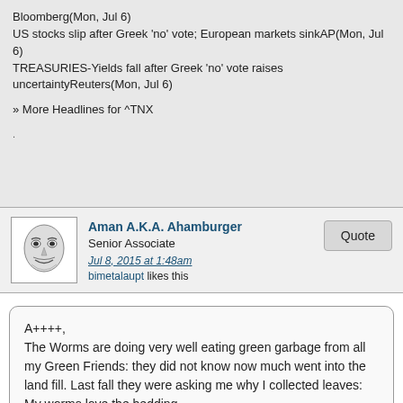Bloomberg(Mon, Jul 6)
US stocks slip after Greek 'no' vote; European markets sinkAP(Mon, Jul 6)
TREASURIES-Yields fall after Greek 'no' vote raises uncertaintyReuters(Mon, Jul 6)
» More Headlines for ^TNX
.
Aman A.K.A. Ahamburger
Senior Associate
Jul 8, 2015 at 1:48am
bimetalaupt likes this
Quote
A++++,
The Worms are doing very well eating green garbage from all my Green Friends: they did not know now much went into the land fill. Last fall they were asking me why I collected leaves: My worms love the bedding.